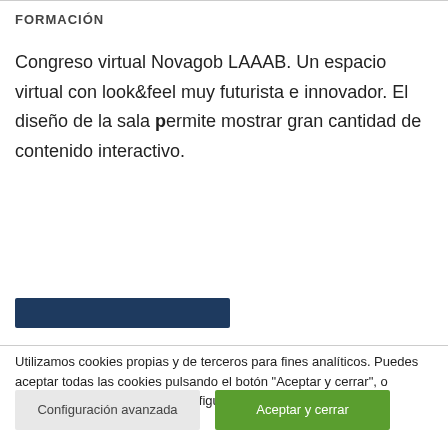FORMACIÓN
Congreso virtual Novagob LAAAB. Un espacio virtual con look&feel muy futurista e innovador. El diseño de la sala permite mostrar gran cantidad de contenido interactivo.
[Figure (other): Dark blue horizontal bar/button element]
Utilizamos cookies propias y de terceros para fines analíticos. Puedes aceptar todas las cookies pulsando el botón "Aceptar y cerrar", o seleccionar las cookies en "Configuración avanzada".
Configuración avanzada
Aceptar y cerrar